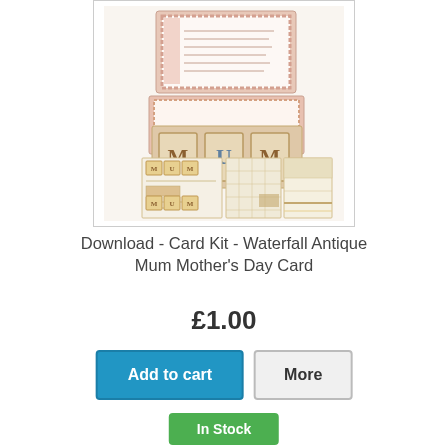[Figure (photo): Product image of a Waterfall Antique Mum Mother's Day Card Kit download, showing assembled card with MUM letter blocks and paper sheets]
Download - Card Kit - Waterfall Antique Mum Mother's Day Card
£1.00
Add to cart
More
In Stock